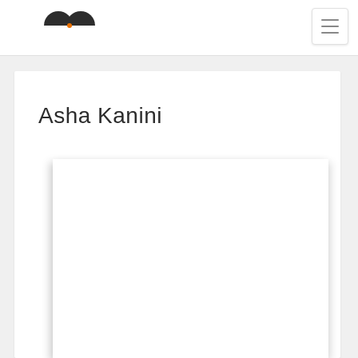Navigation bar with logo and hamburger menu
Asha Kanini
[Figure (screenshot): White inner content box / embedded page preview, appears blank/empty]